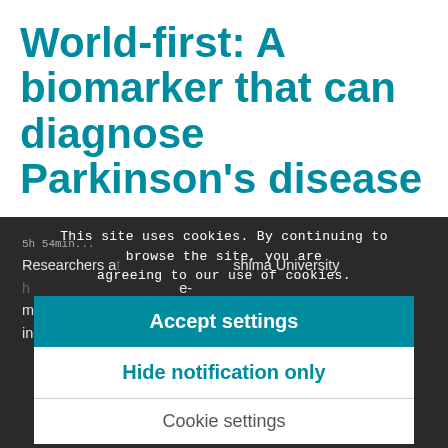World-first: A biomarker that can diagnose Parkinson's disease
This site uses cookies. By continuing to browse the site, you are agreeing to our use of cookies.
Researchers a[...] shima University [...] e-marker tha[...] to be rapidly and inexpensively diagnosed from blood serum samples.